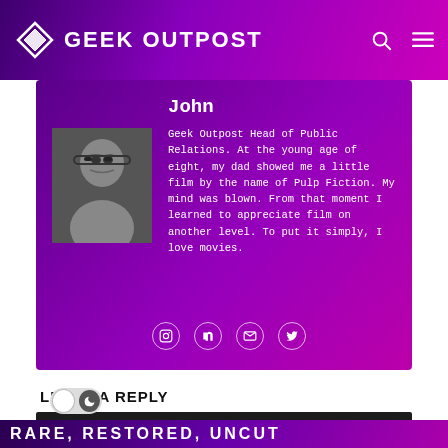GEEK OUTPOST
John
Geek Outpost Head of Public Relations. At the young age of eight, my dad showed me a little film by the name of Pulp Fiction. My mind was blown. From that moment I learned to appreciate film on another level. To put it simply, I love movies.
[Figure (photo): Author photo of John, black and white portrait of a man with glasses]
LEAVE A REPLY
LOG IN TO LEAVE A COMMENT
RARE, RESTORED, UNCUT